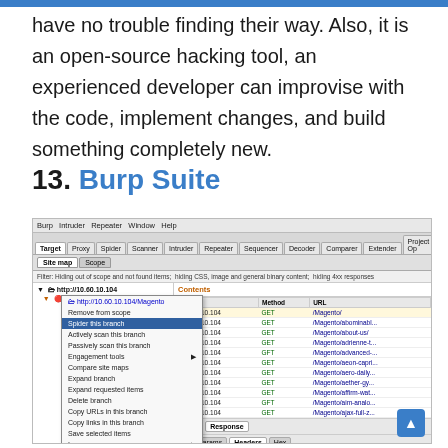have no trouble finding their way. Also, it is an open-source hacking tool, an experienced developer can improvise with the code, implement changes, and build something completely new.
13. Burp Suite
[Figure (screenshot): Screenshot of Burp Suite application showing the Spider context menu with options like 'Spider this branch' highlighted, along with the site map showing http://10.60.10.104/Magento and various URL entries with GET methods.]